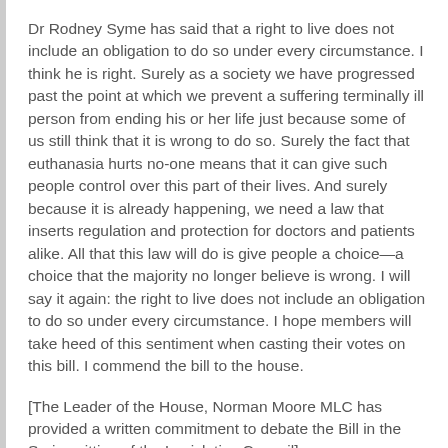Dr Rodney Syme has said that a right to live does not include an obligation to do so under every circumstance. I think he is right. Surely as a society we have progressed past the point at which we prevent a suffering terminally ill person from ending his or her life just because some of us still think that it is wrong to do so. Surely the fact that euthanasia hurts no-one means that it can give such people control over this part of their lives. And surely because it is already happening, we need a law that inserts regulation and protection for doctors and patients alike. All that this law will do is give people a choice—a choice that the majority no longer believe is wrong. I will say it again: the right to live does not include an obligation to do so under every circumstance. I hope members will take heed of this sentiment when casting their votes on this bill. I commend the bill to the house.
[The Leader of the House, Norman Moore MLC has provided a written commitment to debate the Bill in the Spring sitting of the Legislative Council]
You can find more on Robin's Voluntary Euthanasia Bill